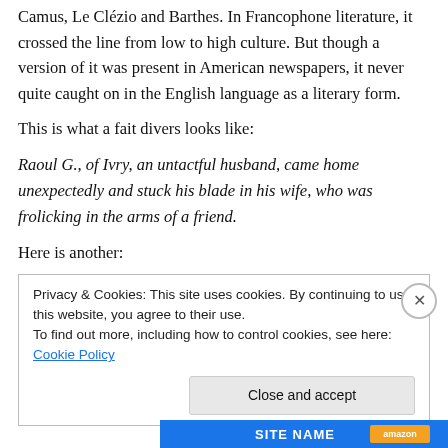Camus, Le Clézio and Barthes. In Francophone literature, it crossed the line from low to high culture. But though a version of it was present in American newspapers, it never quite caught on in the English language as a literary form.
This is what a fait divers looks like:
Raoul G., of Ivry, an untactful husband, came home unexpectedly and stuck his blade in his wife, who was frolicking in the arms of a friend.
Here is another:
Privacy & Cookies: This site uses cookies. By continuing to use this website, you agree to their use.
To find out more, including how to control cookies, see here: Cookie Policy
[Figure (screenshot): Bottom navigation bar with site branding and Amazon badge]